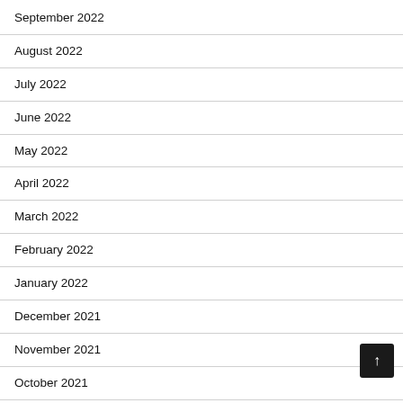September 2022
August 2022
July 2022
June 2022
May 2022
April 2022
March 2022
February 2022
January 2022
December 2021
November 2021
October 2021
September 2021
August 2021